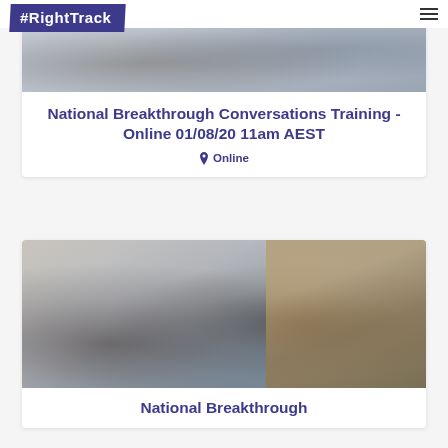#RightTrack
[Figure (photo): People sitting at a table having a conversation, blurred background]
National Breakthrough Conversations Training - Online 01/08/20 11am AEST
Online
[Figure (photo): Two women in conversation; one wearing a black hijab, the other with long dark hair, in a classroom or meeting setting with wooden panel background]
National Breakthrough